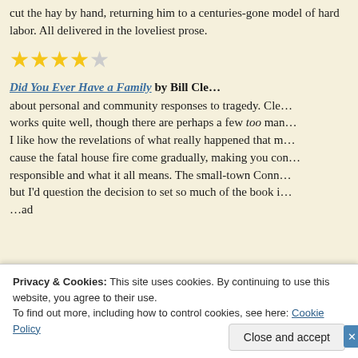cut the hay by hand, returning him to a centuries-gone model of hard labor. All delivered in the loveliest prose.
[Figure (other): Star rating: 4 out of 5 stars (4 filled gold stars, 1 empty/outline star)]
Did You Ever Have a Family by Bill Cle...
about personal and community responses to tragedy. Cle... works quite well, though there are perhaps a few too man... I like how the revelations of what really happened that m... cause the fatal house fire come gradually, making you con... responsible and what it all means. The small-town Conn... but I'd question the decision to set so much of the book i... ...ad
Privacy & Cookies: This site uses cookies. By continuing to use this website, you agree to their use.
To find out more, including how to control cookies, see here: Cookie Policy
Close and accept